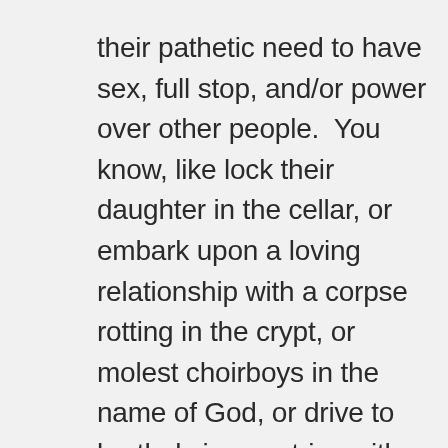their pathetic need to have sex, full stop, and/or power over other people.  You know, like lock their daughter in the cellar, or embark upon a loving relationship with a corpse rotting in the crypt, or molest choirboys in the name of God, or drive to brothels in countries with lax regulations because outside of that, no woman Earth is going to have sex with them.
See, for example, most songs on their 2009 album Liebe ist für alle da, which for me is their album almost entirely devoted to the dumb things that men do because